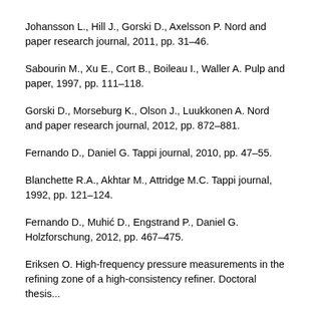Johansson L., Hill J., Gorski D., Axelsson P. Nord and paper research journal, 2011, pp. 31–46.
Sabourin M., Xu E., Cort B., Boileau I., Waller A. Pulp and paper, 1997, pp. 111–118.
Gorski D., Morseburg K., Olson J., Luukkonen A. Nord and paper research journal, 2012, pp. 872–881.
Fernando D., Daniel G. Tappi journal, 2010, pp. 47–55.
Blanchette R.A., Akhtar M., Attridge M.C. Tappi journal, 1992, pp. 121–124.
Fernando D., Muhić D., Engstrand P., Daniel G. Holzforschung, 2012, pp. 467–475.
Eriksen O. High-frequency pressure measurements in the refining zone of a high-consistency refiner. Doctoral thesis...